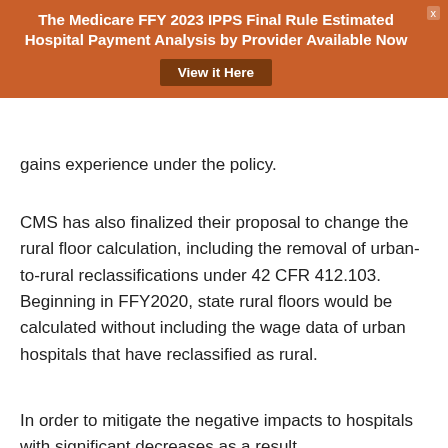The Medicare FFY 2023 IPPS Final Rule Estimated Hospital Payment Analysis by Provider Available Now
View it Here
gains experience under the policy.
CMS has also finalized their proposal to change the rural floor calculation, including the removal of urban-to-rural reclassifications under 42 CFR 412.103. Beginning in FFY2020, state rural floors would be calculated without including the wage data of urban hospitals that have reclassified as rural.
In order to mitigate the negative impacts to hospitals with significant decreases as a result